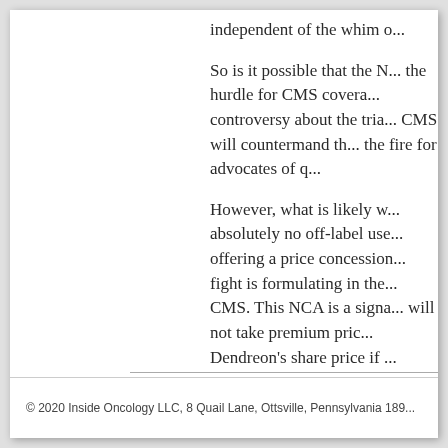independent of the whim o...
So is it possible that the N... the hurdle for CMS covera... controversy about the tria... CMS will countermand th... the fire for advocates of q...
However, what is likely w... absolutely no off-label use... offering a price concession... fight is formulating in the... CMS. This NCA is a signa... will not take premium pric... Dendreon's share price if ...
© 2020 Inside Oncology LLC, 8 Quail Lane, Ottsville, Pennsylvania 189...